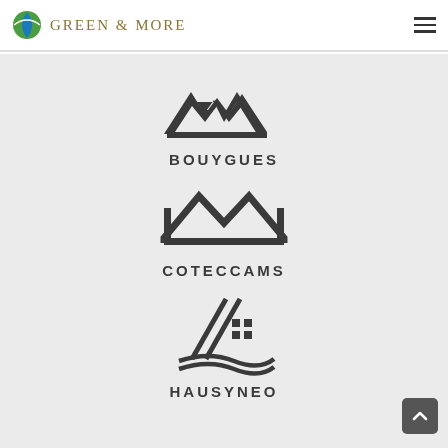[Figure (logo): Green & More logo with leaf/globe icon and serif text]
[Figure (logo): Bouygues Immobilier logo - stylized rooftop M shape with two squares, text BOUYGUES below]
[Figure (logo): Coteccams logo - stylized double peaked rooftop outline, text COTECCAMS below]
[Figure (logo): Hausyneo logo - diagonal lines with house/grid and wave, text HAUSYNEO below]